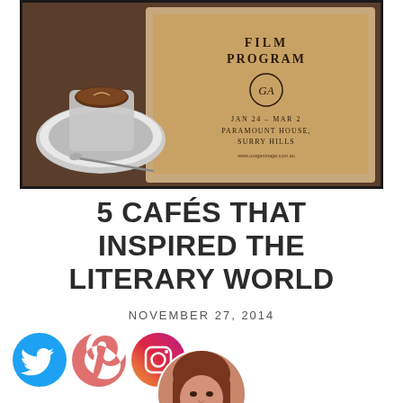[Figure (photo): Photo of a coffee cup on a saucer with a spoon on a wooden table, next to a kraft paper booklet reading 'FILM PROGRAM' with logo and text 'JAN 24 - MAR 2, PARAMOUNT HOUSE, SURRY HILLS', with a website URL at the bottom.]
5 CAFÉS THAT INSPIRED THE LITERARY WORLD
NOVEMBER 27, 2014
[Figure (infographic): Three social media icons: Twitter (blue circle), Pinterest (pink/salmon circle), Instagram (purple/gradient circle)]
[Figure (photo): Circular avatar portrait photo of a woman with auburn/red hair, smiling.]